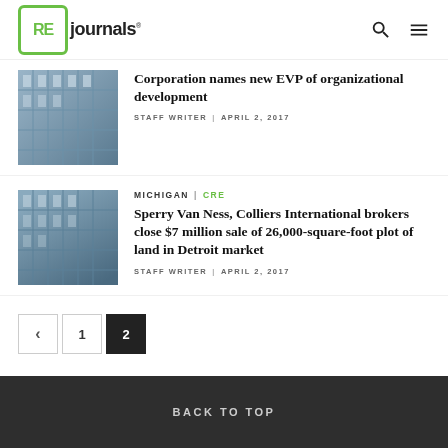RE journals
[Figure (photo): Building facade with glass windows, top article]
Corporation names new EVP of organizational development
STAFF WRITER | APRIL 2, 2017
[Figure (photo): Building facade with glass windows, bottom article]
MICHIGAN | CRE
Sperry Van Ness, Colliers International brokers close $7 million sale of 26,000-square-foot plot of land in Detroit market
STAFF WRITER | APRIL 2, 2017
< 1 2
BACK TO TOP